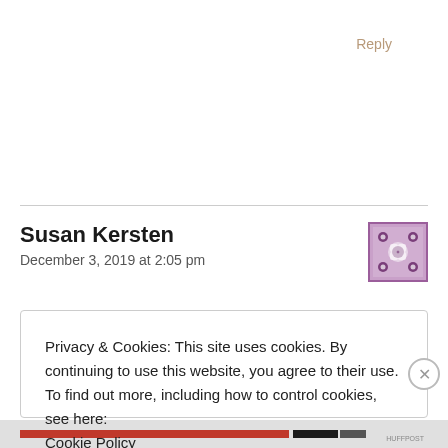Reply
Susan Kersten
December 3, 2019 at 2:05 pm
Privacy & Cookies: This site uses cookies. By continuing to use this website, you agree to their use.
To find out more, including how to control cookies, see here:
Cookie Policy
Close and accept